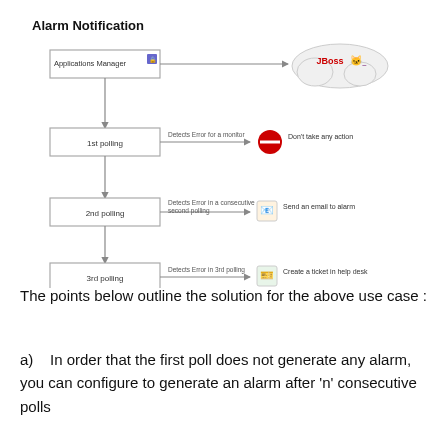Alarm Notification
[Figure (flowchart): Alarm Notification flowchart showing Applications Manager connected to JBoss, with 1st polling detecting error for a monitor (Don't take any action), 2nd polling detecting error in a consecutive second polling (Send an email to alarm), and 3rd polling detecting error in 3rd polling (Create a ticket in help desk).]
The points below outline the solution for the above use case :
a)   In order that the first poll does not generate any alarm, you can configure to generate an alarm after 'n' consecutive polls